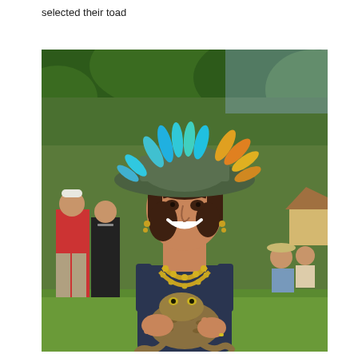selected their toad
[Figure (photo): A smiling woman wearing a wide-brimmed green hat decorated with colorful blue, teal, and orange feathers, and a gold bead necklace, holding a large toad in her hands. She is outdoors on a grassy area with trees in the background. Other people are visible in the background, including two women standing to the left and several people sitting to the right.]